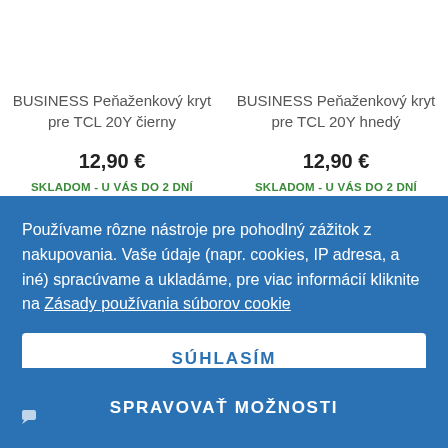BUSINESS Peňaženkový kryt pre TCL 20Y čierny
12,90 €
SKLADOM - U VÁS DO 2 DNÍ
BUSINESS Peňaženkový kryt pre TCL 20Y hnedý
12,90 €
SKLADOM - U VÁS DO 2 DNÍ
Používame rôzne nástroje pre pohodlný zážitok z nakupovania. Vaše údaje (napr. cookies, IP adresa, a iné) spracúvame a ukladáme, pre viac informácií kliknite na Zásady používania súborov cookie
SÚHLASÍM
SPRAVOVAŤ MOŽNOSTI